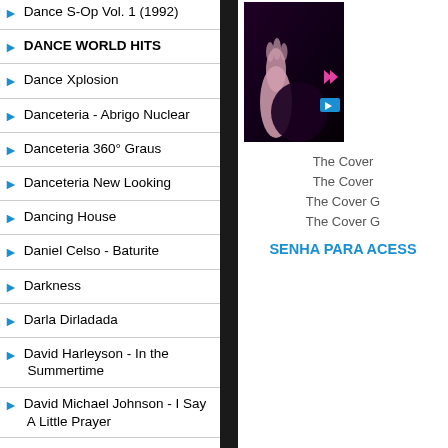Dance S-Op Vol. 1 (1992)
DANCE WORLD HITS
Dance Xplosion
Danceteria - Abrigo Nuclear
Danceteria 360° Graus
Danceteria New Looking
Dancing House
Daniel Celso - Baturite
Darkness
Darla Dirladada
David Harleyson - In the Summertime
David Michael Johnson - I Say A Little Prayer
David Morales
De La Soul - Say No Go
De Volta Para O Futuro (1985)
De-Javu - I Can't Stop (2001)
[Figure (photo): Album cover photo showing a hand/performer against dark background with a blue play button overlay]
The Cover
The Cover
The Cover G
The Cover G
SENHA PARA ACESS